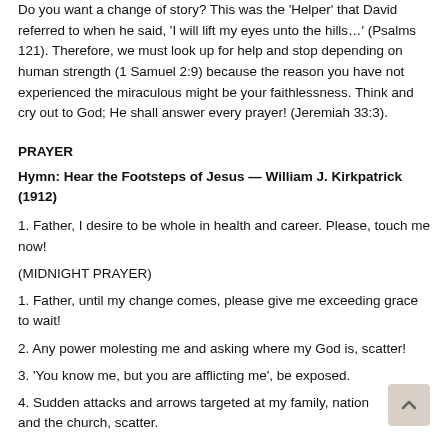Do you want a change of story? This was the 'Helper' that David referred to when he said, 'I will lift my eyes unto the hills…' (Psalms 121). Therefore, we must look up for help and stop depending on human strength (1 Samuel 2:9) because the reason you have not experienced the miraculous might be your faithlessness. Think and cry out to God; He shall answer every prayer! (Jeremiah 33:3).
PRAYER
Hymn: Hear the Footsteps of Jesus — William J. Kirkpatrick (1912)
1. Father, I desire to be whole in health and career. Please, touch me now!
(MIDNIGHT PRAYER)
1. Father, until my change comes, please give me exceeding grace to wait!
2. Any power molesting me and asking where my God is, scatter!
3. 'You know me, but you are afflicting me', be exposed.
4. Sudden attacks and arrows targeted at my family, nation and the church, scatter.